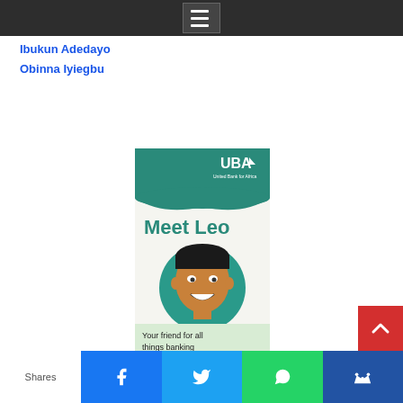Navigation menu bar
Ibukun Adedayo
Obinna Iyiegbu
[Figure (illustration): UBA Leo chatbot promotional card. Teal header with UBA logo and 'United Bank for Africa' text. Large bold teal text reads 'Meet Leo'. Circular teal badge with illustrated cartoon face of a young Black man smiling. Light green/cream lower section with text 'Your friend for all things banking'.]
Shares  [Facebook] [Twitter] [WhatsApp] [Meerkat]